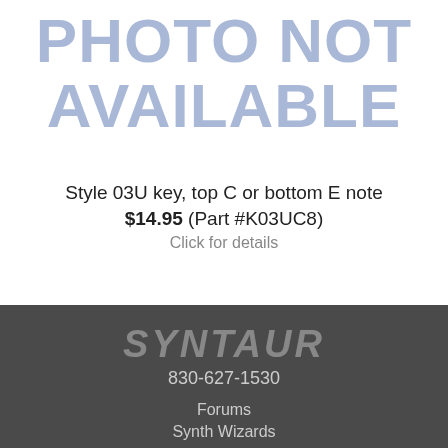[Figure (other): Photo not available placeholder image with large light blue text reading PHOTO NOT AVAILABLE on white background]
Style 03U key, top C or bottom E note
$14.95 (Part #K03UC8)
Click for details
SYNTAUR
830-627-1530
Forums
Synth Wizards